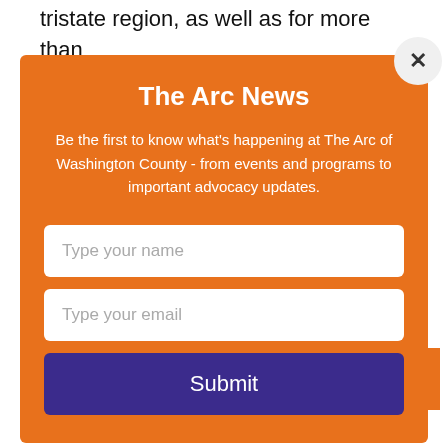tristate region, as well as for more than
[Figure (screenshot): Newsletter signup modal with orange background. Title: The Arc News. Description text about being first to know what's happening at The Arc of Washington County. Form fields for name and email. Submit button in dark purple. Close button (X) in top right corner.]
community, Meritas Health relentlessly pursues excellence to improve the health status of the region.
About The Arc of Washington County